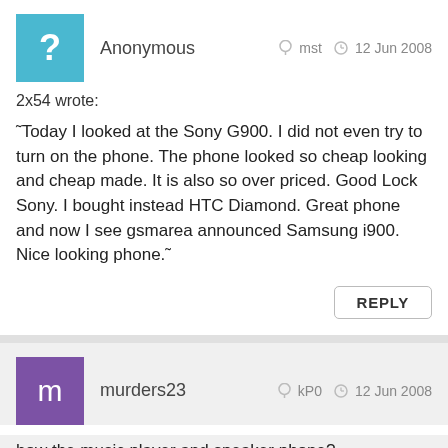Anonymous   mst   12 Jun 2008
2x54 wrote:
"Today I looked at the Sony G900. I did not even try to turn on the phone. The phone looked so cheap looking and cheap made. It is also so over priced. Good Lock Sony. I bought instead HTC Diamond. Great phone and now I see gsmarea announced Samsung i900. Nice looking phone."
REPLY
murders23   kP0   12 Jun 2008
how the music player and speaker phone?
REPLY